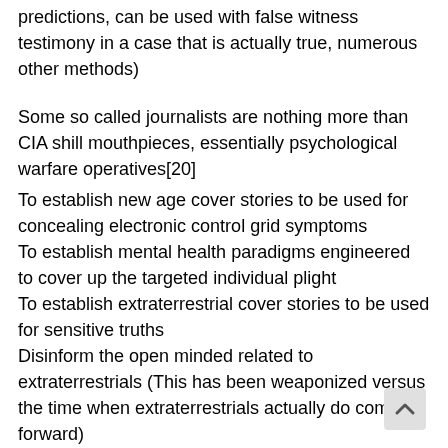predictions, can be used with false witness testimony in a case that is actually true, numerous other methods)
Some so called journalists are nothing more than CIA shill mouthpieces, essentially psychological warfare operatives[20]
To establish new age cover stories to be used for concealing electronic control grid symptoms
To establish mental health paradigms engineered to cover up the targeted individual plight
To establish extraterrestrial cover stories to be used for sensitive truths
Disinform the open minded related to extraterrestrials (This has been weaponized versus the time when extraterrestrials actually do come forward)
Information warfare aimed at contrasting negatively